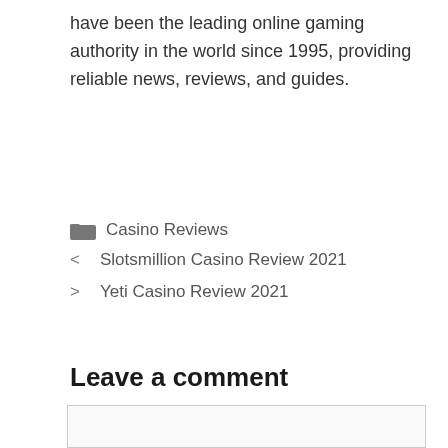have been the leading online gaming authority in the world since 1995, providing reliable news, reviews, and guides.
Casino Reviews
< Slotsmillion Casino Review 2021
> Yeti Casino Review 2021
Leave a comment